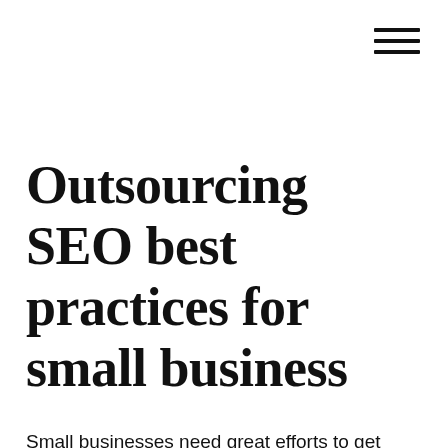[Figure (other): Hamburger menu icon with three horizontal lines in the top-right corner]
Outsourcing SEO best practices for small business
Small businesses need great efforts to get online visibility. Hiring an outsourcing SEO expert may not always be feasible. Search engine optimization is every business’s goal.